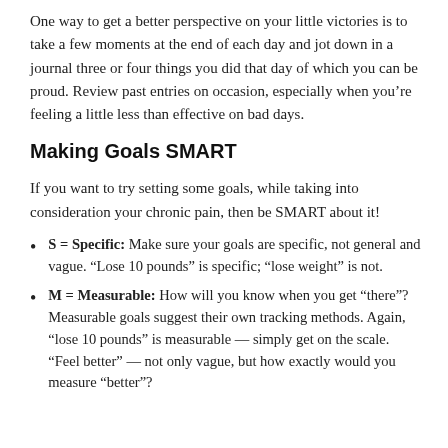One way to get a better perspective on your little victories is to take a few moments at the end of each day and jot down in a journal three or four things you did that day of which you can be proud. Review past entries on occasion, especially when you're feeling a little less than effective on bad days.
Making Goals SMART
If you want to try setting some goals, while taking into consideration your chronic pain, then be SMART about it!
S = Specific: Make sure your goals are specific, not general and vague. “Lose 10 pounds” is specific; “lose weight” is not.
M = Measurable: How will you know when you get “there”? Measurable goals suggest their own tracking methods. Again, “lose 10 pounds” is measurable — simply get on the scale. “Feel better” — not only vague, but how exactly would you measure “better”?